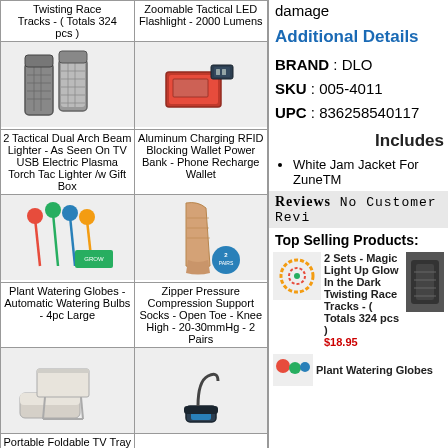| Product 1 | Product 2 |
| --- | --- |
| Twisting Race Tracks - ( Totals 324 pcs ) | Zoomable Tactical LED Flashlight - 2000 Lumens |
| [image: lighters] | [image: wallet] |
| 2 Tactical Dual Arch Beam Lighter - As Seen On TV USB Electric Plasma Torch Tac Lighter /w Gift Box | Aluminum Charging RFID Blocking Wallet Power Bank - Phone Recharge Wallet |
| [image: golf balls] | [image: compression socks] |
| Plant Watering Globes - Automatic Watering Bulbs - 4pc Large | Zipper Pressure Compression Support Socks - Open Toe - Knee High - 20-30mmHg - 2 Pairs |
| [image: tv tray] | [image: handle tool] |
| Portable Foldable TV Tray Table - Laptop, Eating |  |
damage
Additional Details
BRAND : DLO
SKU : 005-4011
UPC : 836258540117
Includes
White Jam Jacket For ZuneTM
Reviews No Customer Revi
Top Selling Products:
2 Sets - Magic Light Up Glow In the Dark Twisting Race Tracks - ( Totals 324 pcs )
$18.95
Plant Watering Globes